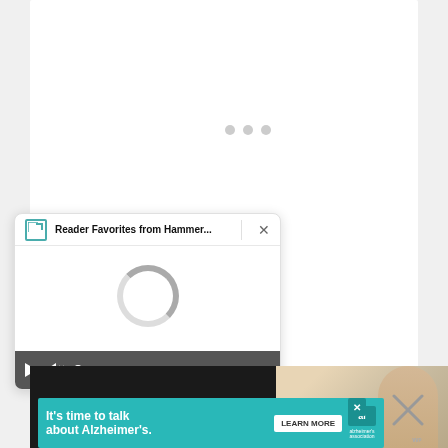[Figure (screenshot): White content card area with three loading dots in the center, representing a loading/buffering webpage]
[Figure (screenshot): Video player popup with title 'Reader Favorites from Hammer...' and a circular loading spinner, with playback controls bar showing play button, mute icon, progress bar, and -0:47 timestamp]
[Figure (photo): Partial photo visible at bottom right showing what appears to be a person's arm or body near a wall/door]
[Figure (screenshot): Advertisement banner reading 'It's time to talk about Alzheimer's.' with a LEARN MORE button and the Alzheimer's Association logo]